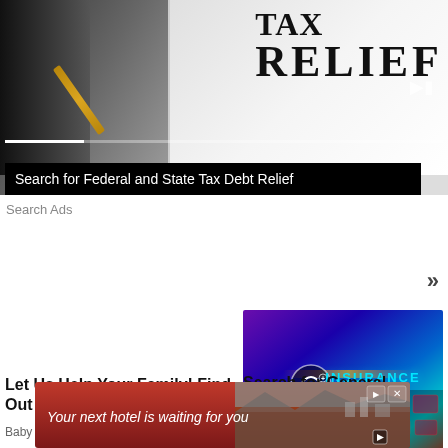[Figure (photo): Video thumbnail showing newspaper/document with TAX RELIEF text, black background, with play button and progress bar overlay]
Search for Federal and State Tax Debt Relief
Search Ads
»
[Figure (photo): Illuminated keyboard with INSURANCE text glowing in cyan, umbrella icon, purple and red gradient lighting]
Let Us Help Your Family! Find Out If You Are Eligible.
Baby Formula Legal Helpers
Search for General Insurance Online
Search Ads
[Figure (photo): Hotel advertisement banner with red background showing city/landscape image and text: Your next hotel is waiting for you]